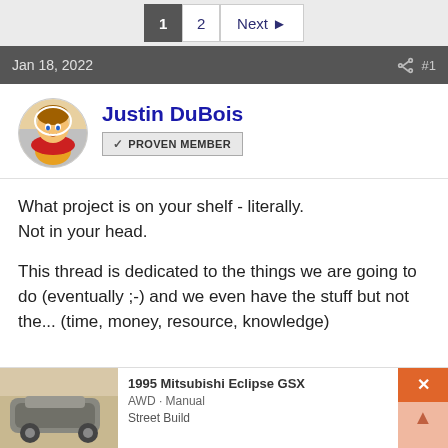1  2  Next ▶
Jan 18, 2022   #1
Justin DuBois
✓ PROVEN MEMBER
What project is on your shelf - literally.
Not in your head.

This thread is dedicated to the things we are going to do (eventually ;-) and we even have the stuff but not the... (time, money, resource, knowledge)
[Figure (screenshot): 1995 Mitsubishi Eclipse GSX, AWD · Manual, Street Build - thumbnail card at bottom of page]